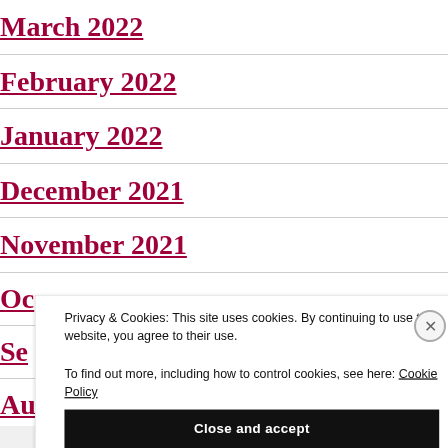March 2022
February 2022
January 2022
December 2021
November 2021
Oc[tober 2021]
Se[ptember 2021]
Au[gust 2021]
Privacy & Cookies: This site uses cookies. By continuing to use this website, you agree to their use. To find out more, including how to control cookies, see here: Cookie Policy
Close and accept